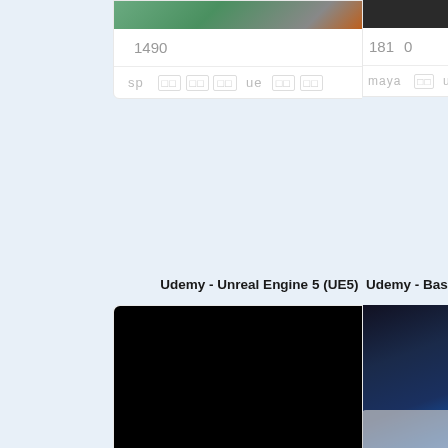[Figure (screenshot): Top portion of a course card with a game/3D scene image thumbnail, partially visible at top]
149   0                              0
sp  □□  □□  □□  ue  □□  □□
Udemy - Unreal Engine 5 (UE5) Compl…
[Figure (screenshot): Black thumbnail image for Unreal Engine 5 course]
271   0                              1
UE  Unreal  Engine  □□  □□  □□  □□  □□
Udemy - Bas…
181   0
maya  □□  ue  □
295   0
UE  Unreal  En…
[Figure (screenshot): Partial right card bottom with blue/dark gradient image, possibly a Blender or 3D tool course]